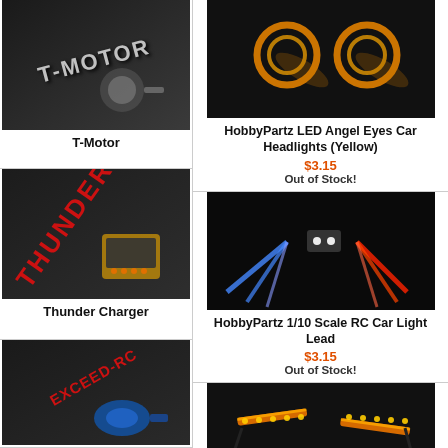[Figure (photo): T-Motor brand image with motor and metallic logo on dark background]
T-Motor
[Figure (photo): Thunder Charger brand image with charger device and red Thunder logo on dark background]
Thunder Charger
[Figure (photo): Exceed RC brand image with blue motor and logo on dark background]
[Figure (photo): HobbyPartz LED Angel Eyes Car Headlights (Yellow) - orange ring LED lights on dark background]
HobbyPartz LED Angel Eyes Car Headlights (Yellow)
$3.15
Out of Stock!
[Figure (photo): HobbyPartz 1/10 Scale RC Car Light Lead - blue and red LED lights on dark background]
HobbyPartz 1/10 Scale RC Car Light Lead
$3.15
Out of Stock!
[Figure (photo): HobbyPartz Yellow UnderBody lighting strips - orange LED strips on dark background]
HobbyPartz Yellow UnderBody Lighting Style Kit for RC Cars